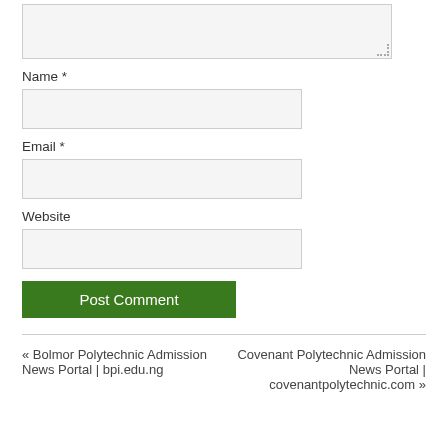[Figure (other): Textarea form field (comment input box) with resize handle at bottom right]
Name *
[Figure (other): Name text input field]
Email *
[Figure (other): Email text input field]
Website
[Figure (other): Website text input field]
[Figure (other): Post Comment button, green background]
« Bolmor Polytechnic Admission News Portal | bpi.edu.ng
Covenant Polytechnic Admission News Portal | covenantpolytechnic.com »